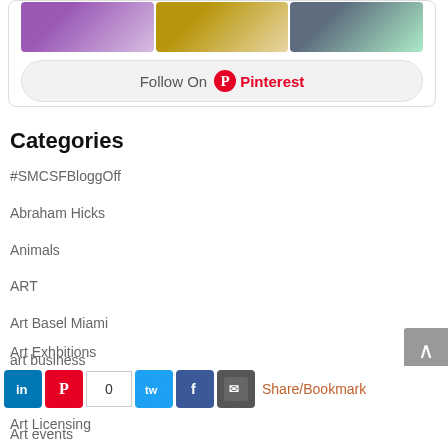[Figure (screenshot): Pinterest widget showing three image thumbnails (purple orb, golden crown figurine, white spiky sculpture) and a 'Follow On Pinterest' button]
Categories
#SMCSFBloggOff
Abraham Hicks
Animals
ART
Art Basel Miami
art business
Art by Debra Cortese
Art events
Art Exhbitions
Art Licensing
[Figure (screenshot): Social share bar with LinkedIn, Pinterest, share count 0, Twitter, Facebook, Email icons and Share/Bookmark link]